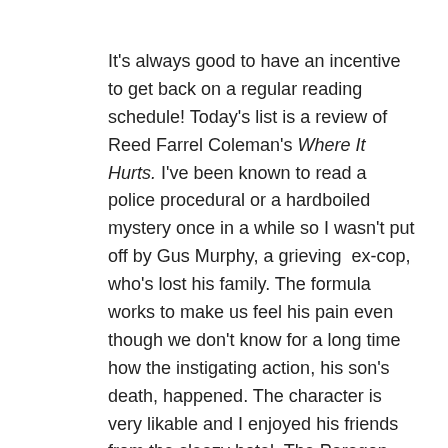It's always good to have an incentive to get back on a regular reading schedule! Today's list is a review of Reed Farrel Coleman's Where It Hurts. I've been known to read a police procedural or a hardboiled mystery once in a while so I wasn't put off by Gus Murphy, a grieving  ex-cop, who's lost his family. The formula works to make us feel his pain even though we don't know for a long time how the instigating action, his son's death, happened. The character is very likable and I enjoyed his friends from the sleazy hotel, The Paragon, where he now works.
His depiction of the Manhattan island setting